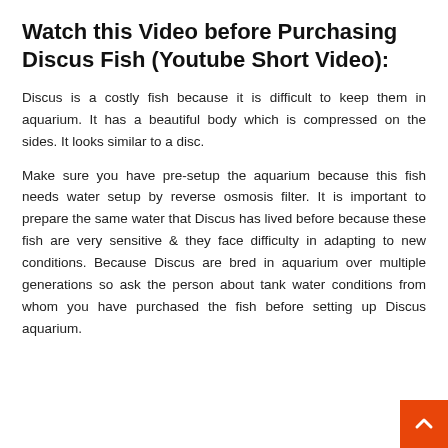Watch this Video before Purchasing Discus Fish (Youtube Short Video):
Discus is a costly fish because it is difficult to keep them in aquarium. It has a beautiful body which is compressed on the sides. It looks similar to a disc.
Make sure you have pre-setup the aquarium because this fish needs water setup by reverse osmosis filter. It is important to prepare the same water that Discus has lived before because these fish are very sensitive & they face difficulty in adapting to new conditions. Because Discus are bred in aquarium over multiple generations so ask the person about tank water conditions from whom you have purchased the fish before setting up Discus aquarium.